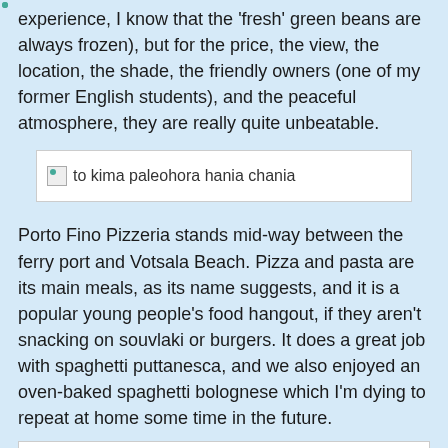experience, I know that the 'fresh' green beans are always frozen), but for the price, the view, the location, the shade, the friendly owners (one of my former English students), and the peaceful atmosphere, they are really quite unbeatable.
[Figure (photo): Broken image placeholder labeled 'to kima paleohora hania chania']
Porto Fino Pizzeria stands mid-way between the ferry port and Votsala Beach. Pizza and pasta are its main meals, as its name suggests, and it is a popular young people's food hangout, if they aren't snacking on souvlaki or burgers. It does a great job with spaghetti puttanesca, and we also enjoyed an oven-baked spaghetti bolognese which I'm dying to repeat at home some time in the future.
[Figure (photo): Broken image placeholder labeled 'porto fino paleohora hania chania']
[Figure (photo): Broken image placeholder labeled 'porto fino paleohora hania chania']
(Porto Fino; cheers!)
[Figure (photo): Broken image placeholder labeled 'paleohora hania chania']